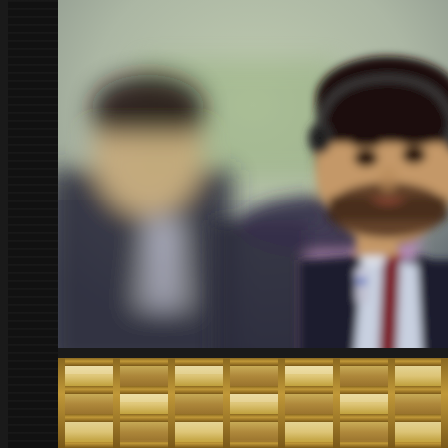[Figure (photo): A young man in a dark suit with a burgundy/maroon tie and light blue dress shirt, wearing a headset microphone, speaking or presenting. He has short dark curly hair and a beard. In the background, slightly blurred, are two other men: one in a dark suit with a patterned tie, and one in a purple/lavender shirt. The setting appears to be a formal or professional event.]
[Figure (photo): Partial view of an ornate ceiling or architectural detail with a grid/lattice pattern featuring gold/amber colored panels lit from behind or below, suggesting a decorative ceiling fixture or window from a formal building or venue.]